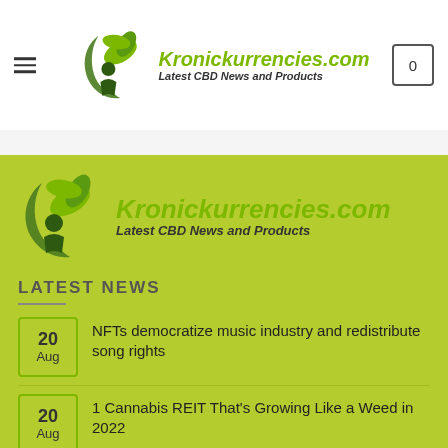Kronickurrencies.com — Latest CBD News and Products
[Figure (logo): Kronickurrencies.com logo with leaf/plant motif, green and dark colors, footer version]
LATEST NEWS
20 Aug — NFTs democratize music industry and redistribute song rights
20 Aug — 1 Cannabis REIT That's Growing Like a Weed in 2022
20 — FanTiger launches India's first Indie Rock Music NFT